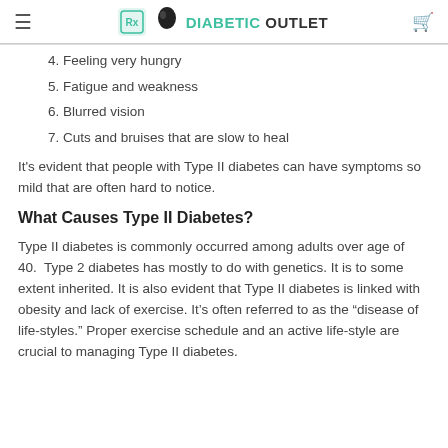DIABETIC OUTLET
4. Feeling very hungry
5. Fatigue and weakness
6. Blurred vision
7. Cuts and bruises that are slow to heal
It's evident that people with Type II diabetes can have symptoms so mild that are often hard to notice.
What Causes Type II Diabetes?
Type II diabetes is commonly occurred among adults over age of 40.  Type 2 diabetes has mostly to do with genetics. It is to some extent inherited. It is also evident that Type II diabetes is linked with obesity and lack of exercise. It's often referred to as the “disease of life-styles.” Proper exercise schedule and an active life-style are crucial to managing Type II diabetes.